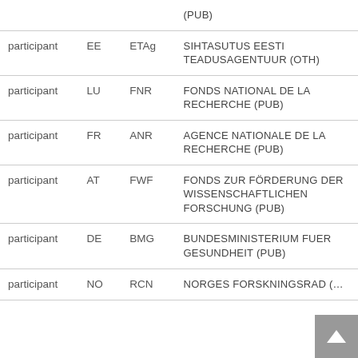| Role | Country | Short Name | Organisation |
| --- | --- | --- | --- |
| participant | EE | ETAg | SIHTASUTUS EESTI TEADUSAGENTUUR (OTH) |
| participant | LU | FNR | FONDS NATIONAL DE LA RECHERCHE (PUB) |
| participant | FR | ANR | AGENCE NATIONALE DE LA RECHERCHE (PUB) |
| participant | AT | FWF | FONDS ZUR FÖRDERUNG DER WISSENSCHAFTLICHEN FORSCHUNG (PUB) |
| participant | DE | BMG | BUNDESMINISTERIUM FUER GESUNDHEIT (PUB) |
| participant | NO | RCN | NORGES FORSKNINGSRAD (…) |